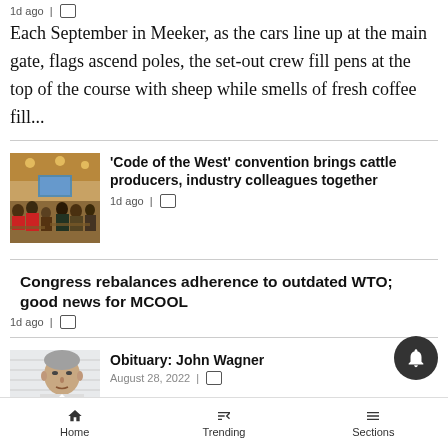1d ago |
Each September in Meeker, as the cars line up at the main gate, flags ascend poles, the set-out crew fill pens at the top of the course with sheep while smells of fresh coffee fill...
[Figure (photo): Convention hall with attendees seated at round tables, screen visible at front.]
'Code of the West' convention brings cattle producers, industry colleagues together
1d ago |
Congress rebalances adherence to outdated WTO; good news for MCOOL
1d ago |
[Figure (photo): Headshot of an older man with grey hair.]
Obituary: John Wagner
August 28, 2022 |
Home  Trending  Sections